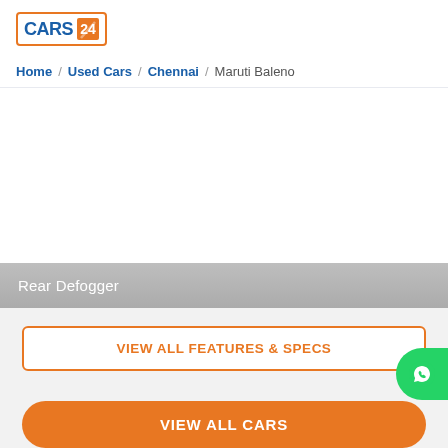[Figure (logo): CARS24 logo with blue CARS text and orange 24 text inside an orange bordered box]
Home / Used Cars / Chennai / Maruti Baleno
Rear Defogger
VIEW ALL FEATURES & SPECS
VIEW ALL CARS